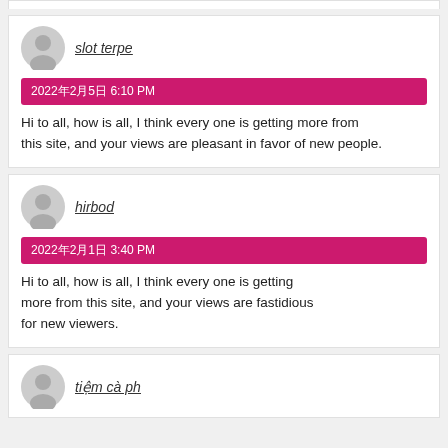slot terpe
2022年2月5日 6:10 PM
Hi to all, how is all, I think every one is getting more from this site, and your views are pleasant in favor of new people.
hirbod
2022年2月1日 3:40 PM
Hi to all, how is all, I think every one is getting more from this site, and your views are fastidious for new viewers.
tiệm cà ph